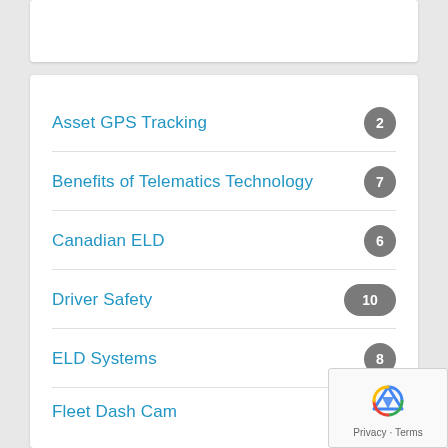Asset GPS Tracking  2
Benefits of Telematics Technology  7
Canadian ELD  6
Driver Safety  10
ELD Systems  8
Fleet Dash Cam